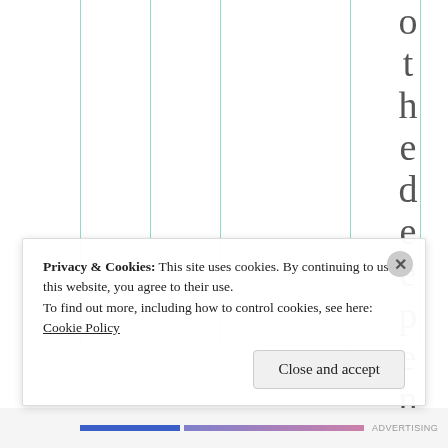[Figure (other): A table with vertical column lines and a single column of large rotated letters spelling 'o t h e d e e p e n d' vertically, visible on the right side of the table area]
Privacy & Cookies: This site uses cookies. By continuing to use this website, you agree to their use.
To find out more, including how to control cookies, see here: Cookie Policy
Close and accept